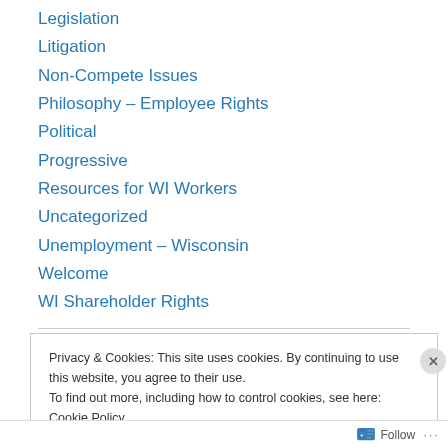Legislation
Litigation
Non-Compete Issues
Philosophy – Employee Rights
Political
Progressive
Resources for WI Workers
Uncategorized
Unemployment – Wisconsin
Welcome
WI Shareholder Rights
Privacy & Cookies: This site uses cookies. By continuing to use this website, you agree to their use. To find out more, including how to control cookies, see here: Cookie Policy
Follow ...